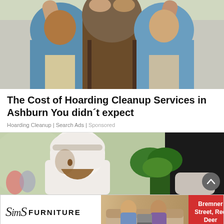[Figure (photo): Two workers in blue shirts and vests giving a high-five, viewed from chest up]
The Cost of Hoarding Cleanup Services in Ashburn You didn´t expect
Hoarding Cleanup | Search Ads | Sponsored
[Figure (photo): Man wearing traditional Arabic white headscarf (keffiyeh) sitting indoors, with a dark screen and plants visible in background]
[Figure (photo): Sims Furniture advertisement banner showing logo, two people on a couch, and text: Bremner Street, Red Deer]